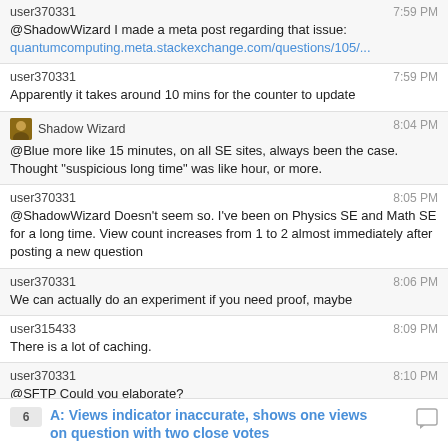user370331 7:59 PM
@ShadowWizard I made a meta post regarding that issue: quantumcomputing.meta.stackexchange.com/questions/105/...
user370331 7:59 PM
Apparently it takes around 10 mins for the counter to update
Shadow Wizard 8:04 PM
@Blue more like 15 minutes, on all SE sites, always been the case.
Thought "suspicious long time" was like hour, or more.
user370331 8:05 PM
@ShadowWizard Doesn't seem so. I've been on Physics SE and Math SE for a long time. View count increases from 1 to 2 almost immediately after posting a new question
user370331 8:06 PM
We can actually do an experiment if you need proof, maybe
user315433 8:09 PM
There is a lot of caching.
user370331 8:10 PM
@SFTP Could you elaborate?
Shadow Wizard 8:10 PM
@Blue yeah, you might be up to something.
6  A: Views indicator inaccurate, shows one views on question with two close votes